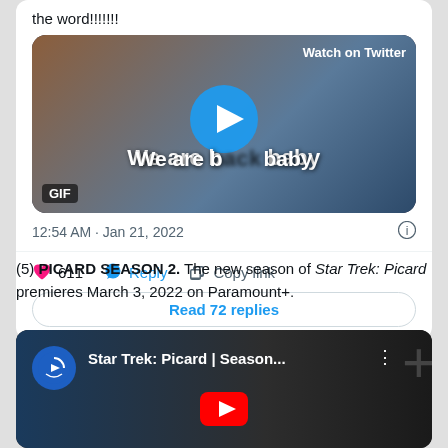the word!!!!!!!
[Figure (screenshot): GIF video thumbnail showing two men in a car with text 'We are back baby' and a play button, with 'Watch on Twitter' label]
12:54 AM · Jan 21, 2022
611  Reply  Copy link
Read 72 replies
(5) PICARD SEASON 2. The new season of Star Trek: Picard premieres March 3, 2022 on Paramount+.
[Figure (screenshot): YouTube video thumbnail for Star Trek: Picard | Season... with Paramount+ branding]